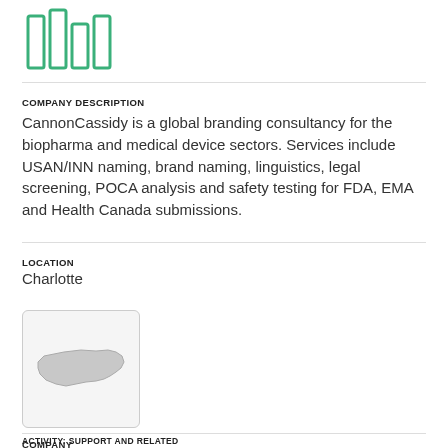[Figure (logo): CannonCassidy green bar chart style logo]
COMPANY DESCRIPTION
CannonCassidy is a global branding consultancy for the biopharma and medical device sectors. Services include USAN/INN naming, brand naming, linguistics, legal screening, POCA analysis and safety testing for FDA, EMA and Health Canada submissions.
LOCATION
Charlotte
[Figure (map): Map thumbnail showing North Carolina state outline]
COMPANY
Chemphtec Corp.
ACTIVITY: SUPPORT AND RELATED